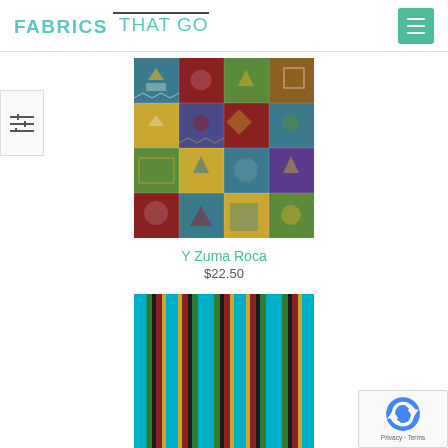FABRICS THAT GO
[Figure (photo): Colorful Aztec/Southwest patchwork fabric pattern with geometric designs in blue, red, yellow, and green]
Y Zuma Roca
$22.50
[Figure (photo): Colorful striped fabric in turquoise/cyan with vertical stripes of red, green, black, and yellow]